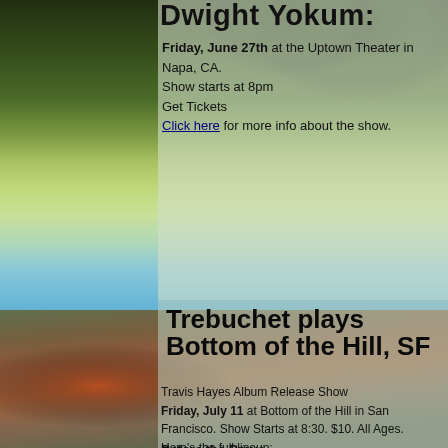Dwight Yokum:
Friday, June 27th at the Uptown Theater in Napa, CA.
Show starts at 8pm
Get Tickets
Click here for more info about the show.
Trebuchet plays Bottom of the Hill, SF
Travis Hayes Album Release Show
Friday, July 11 at Bottom of the Hill in San Francisco. Show Starts at 8:30. $10. All Ages. Here's the full lineup:
Before the Brave
www.beforethebrave.com
Travis Hayes (Record Release)
www.iamtravishayes.com